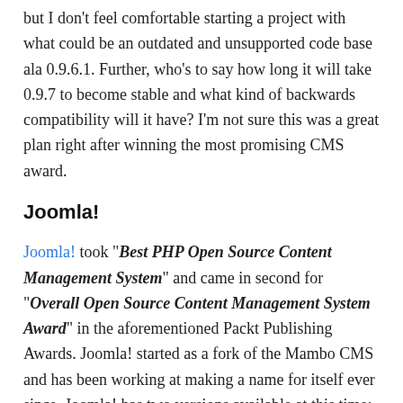but I don't feel comfortable starting a project with what could be an outdated and unsupported code base ala 0.9.6.1. Further, who's to say how long it will take 0.9.7 to become stable and what kind of backwards compatibility will it have? I'm not sure this was a great plan right after winning the most promising CMS award.
Joomla!
Joomla! took "Best PHP Open Source Content Management System" and came in second for "Overall Open Source Content Management System Award" in the aforementioned Packt Publishing Awards. Joomla! started as a fork of the Mambo CMS and has been working at making a name for itself ever since. Joomla! has two versions available at this time: 1.0.15 and 1.5.1. Both are licensed under GPL.
Version 1.0.15 maintains a certain compatibility with Mambo